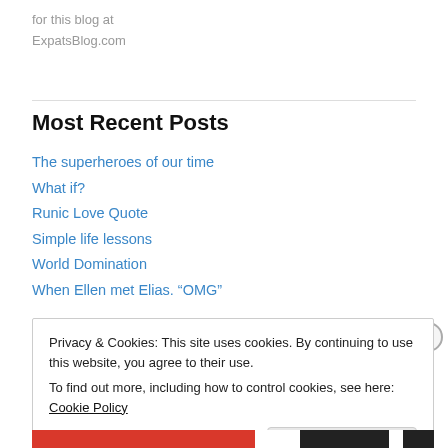for this blog at
ExpatsBlog.com
Most Recent Posts
The superheroes of our time
What if?
Runic Love Quote
Simple life lessons
World Domination
When Ellen met Elias. “OMG”
Privacy & Cookies: This site uses cookies. By continuing to use this website, you agree to their use.
To find out more, including how to control cookies, see here: Cookie Policy